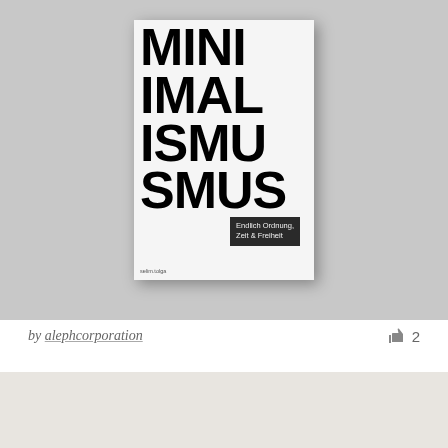[Figure (photo): A photo of a book cover with very large bold black text reading 'MINIMALISM' (partially cropped) on a white background, with subtitle 'Endlich Ordnung, Zeit & Freiheit' in a dark box, and author name 'selim.tolga' at the bottom. The book is placed on a light gray background.]
by alephcorporation  👍 2
[Figure (photo): Bottom portion of another image, showing a light beige/cream background, partially visible.]